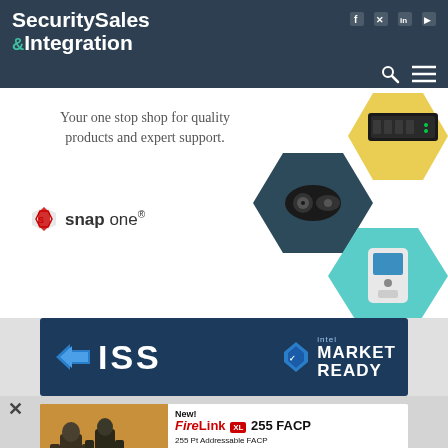Security Sales & Integration — navigation header with social icons (Facebook, Twitter, LinkedIn, YouTube), search and menu icons
[Figure (advertisement): Snap One advertisement: 'Your one stop shop for quality products and expert support.' with Snap One logo and hexagonal product images showing a network switch, speakers/cameras, and a video doorbell]
[Figure (advertisement): ISS banner advertisement with ISS logo and Intel Market Ready badge on dark blue background]
[Figure (advertisement): FireLink XL 255 FACP advertisement: 'New! FireLink XL 255 FACP — 255 Pt Addressable FACP with StarLink Cell/IP Built in. Now 2 FireLink FACPs: Conventional up to 32Pts & New XL 255 Addressable Pts.' with firefighter imagery and product photo]